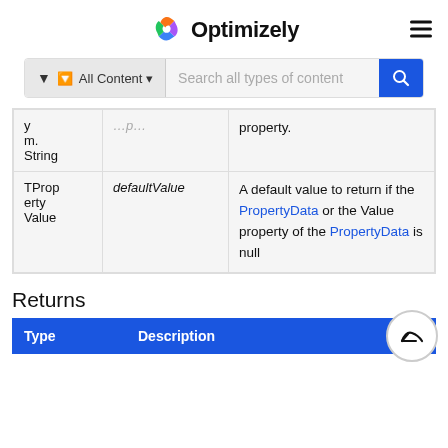Optimizely
| Type | Name | Description |
| --- | --- | --- |
| System. String |  | property. |
| TPropertyValue | defaultValue | A default value to return if the PropertyData or the Value property of the PropertyData is null |
Returns
| Type | Description |
| --- | --- |